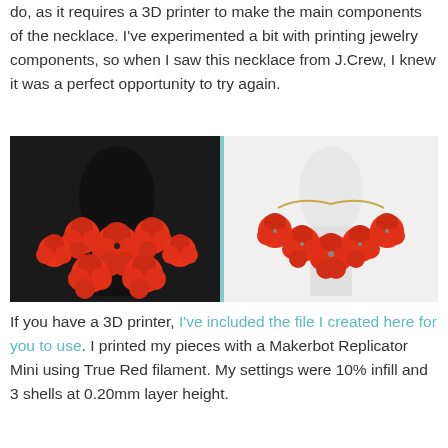do, as it requires a 3D printer to make the main components of the necklace. I've experimented a bit with printing jewelry components, so when I saw this necklace from J.Crew, I knew it was a perfect opportunity to try again.
[Figure (photo): Two side-by-side photos of red flower necklaces. Left photo shows a 3D-printed flower necklace on a black mannequin bust. Right photo shows the original J.Crew necklace on a white display stand.]
If you have a 3D printer, I've included the file I created here for you to use. I printed my pieces with a Makerbot Replicator Mini using True Red filament. My settings were 10% infill and 3 shells at 0.20mm layer height.